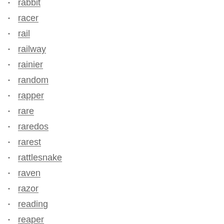rabbit
racer
rail
railway
rainier
random
rapper
rare
raredos
rarest
rattlesnake
raven
razor
reading
reaper
rear
reasons
redd's
redhook
refridgerator